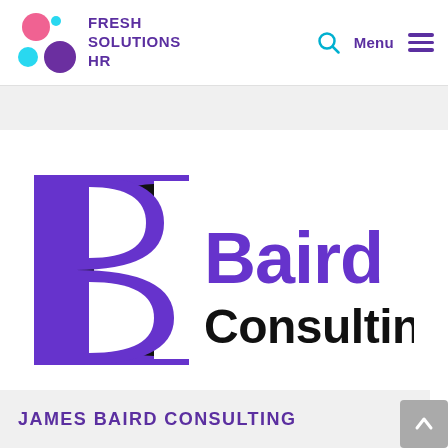[Figure (logo): Fresh Solutions HR logo: pink, light blue, and purple circles with bold purple text 'FRESH SOLUTIONS HR', search icon, Menu label, and hamburger icon on the right]
[Figure (logo): Baird Consulting logo: stylized BC letterform in black circle with purple B shape, accompanied by 'Baird' in bold purple and 'Consulting' in bold black text]
JAMES BAIRD CONSULTING